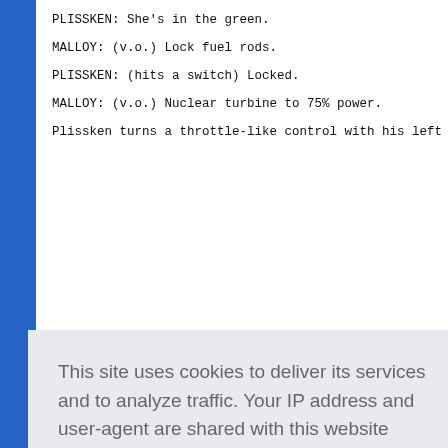PLISSKEN: She's in the green.
MALLOY: (v.o.) Lock fuel rods.
PLISSKEN: (hits a switch) Locked.
MALLOY: (v.o.) Nuclear turbine to 75% power.
Plissken turns a throttle-like control with his left han[d]
[...roaring b...]
[...4...3...]
[...rward th...]
[...orates w...]
A door in the wall opens, revealing the circulator tunne[l]
This site uses cookies to deliver its services and to analyze traffic. Your IP address and user-agent are shared with this website along with performance and security metrics to ensure quality of service, generate usage statistics, and to detect and address abuse. Learn more / Got it!